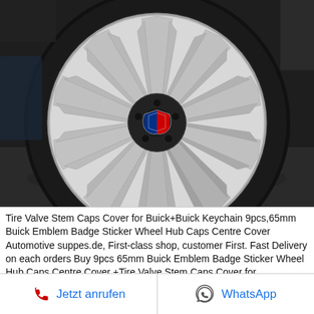[Figure (photo): Close-up photo of a silver Buick alloy wheel with Y-spoke design and Buick tri-shield logo center cap, dark background]
Tire Valve Stem Caps Cover for Buick+Buick Keychain 9pcs,65mm Buick Emblem Badge Sticker Wheel Hub Caps Centre Cover Automotive suppes.de, First-class shop, customer First. Fast Delivery on each orders Buy 9pcs 65mm Buick Emblem Badge Sticker Wheel Hub Caps Centre Cover +Tire Valve Stem Caps Cover for Buick+Buick
Jetzt anrufen
WhatsApp